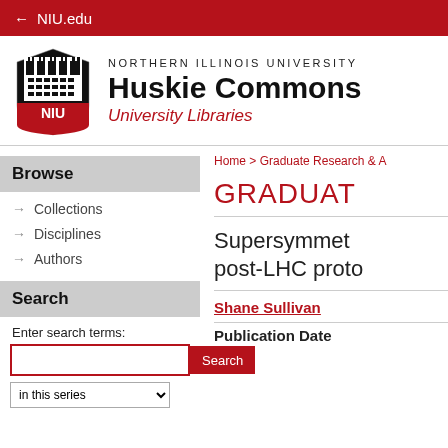← NIU.edu
[Figure (logo): NIU shield logo with Huskie Commons University Libraries branding]
Browse
→ Collections
→ Disciplines
→ Authors
Search
Enter search terms:
in this series
Home > Graduate Research & A
GRADUAT
Supersymmet post-LHC proto
Shane Sullivan
Publication Date